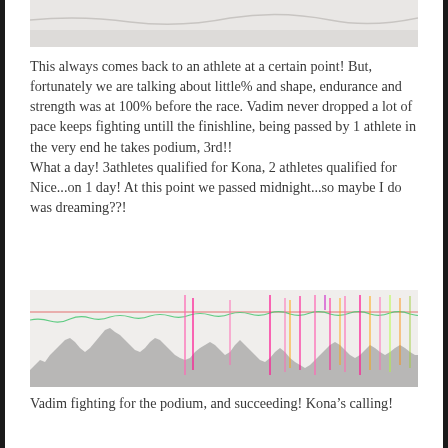[Figure (photo): Partial white/light grey fabric or surface image, cropped at top]
This always comes back to an athlete at a certain point! But, fortunately we are talking about little% and shape, endurance and strength was at 100% before the race. Vadim never dropped a lot of pace keeps fighting untill the finishline, being passed by 1 athlete in the very end he takes podium, 3rd!! What a day! 3athletes qualified for Kona, 2 athletes qualified for Nice...on 1 day! At this point we passed midnight...so maybe I do was dreaming??!
[Figure (continuous-plot): Athletic performance chart showing heart rate and power/pace data over time. Grey area chart in background with colorful overlaid line traces in green, pink, red, orange, yellow colors showing spikes and variations throughout a race event.]
Vadim fighting for the podium, and succeeding! Kona’s calling!